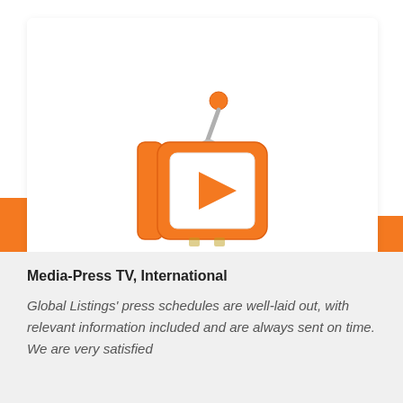[Figure (logo): Cartoon TV set with orange body, white screen with orange play button triangle, gray antenna with orange ball on top, and the word MEDIA in bold dark navy blue below]
Media-Press TV, International
Global Listings' press schedules are well-laid out, with relevant information included and are always sent on time. We are very satisfied